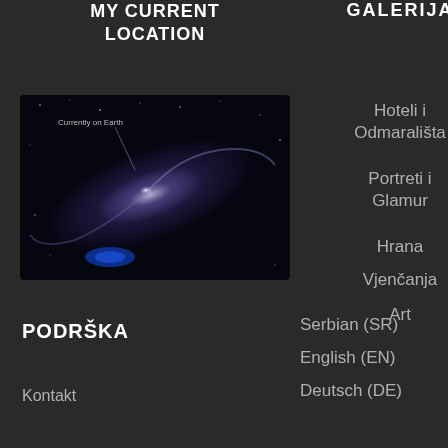MY CURRENT LOCATION
[Figure (photo): Galaxy / Milky Way space image with text 'Currently on Earth']
GALERIJA
Hoteli i Odmarališta
Portreti i Glamur
Hrana
Vjenčanja
Art
INSTAGRAM
[Figure (photo): Instagram profile avatar - photographer with camera]
leonbijelic... □ AFIAP Fin... photogra... @leonbi... Youtub... @zlatnodo... Book... @leonbijelic... leonbijelic@g... □ Now some... □
Load More...
○ Follow on Instagram
PODRŠKA
Serbian  (SR)
English  (EN)
Deutsch  (DE)
Kontakt
[Figure (other): reCAPTCHA widget with Privacy - Terms text]